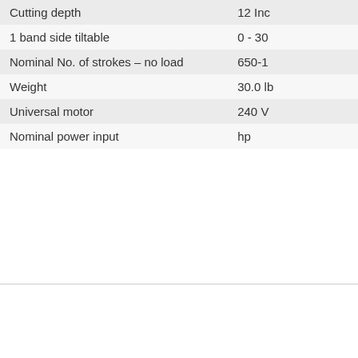| Cutting depth | 12 Inc |
| 1 band side tiltable | 0 - 30 |
| Nominal No. of strokes – no load | 650-1 |
| Weight | 30.0 lb |
| Universal motor | 240 V |
| Nominal power input | hp |